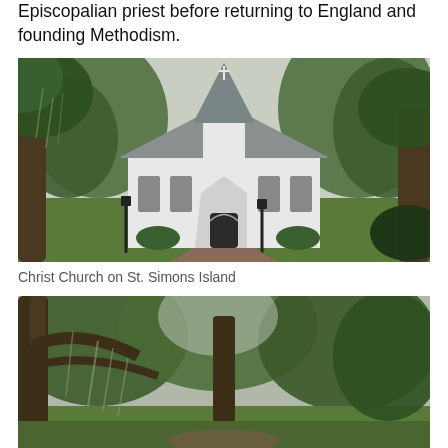Episcopalian priest before returning to England and founding Methodism.
[Figure (photo): Christ Church on St. Simons Island — a white wooden church with a pointed steeple, surrounded by large live oak trees draped with Spanish moss, with a brick pathway leading to the entrance]
Christ Church on St. Simons Island
[Figure (photo): Partial view of another church or the same church grounds, showing large live oak trees with Spanish moss, partially cut off at bottom of page]